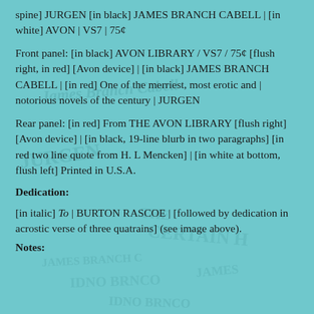spine] JURGEN [in black] JAMES BRANCH CABELL | [in white] AVON | VS7 | 75¢
Front panel: [in black] AVON LIBRARY / VS7 / 75¢ [flush right, in red] [Avon device] | [in black] JAMES BRANCH CABELL | [in red] One of the merriest, most erotic and | notorious novels of the century | JURGEN
Rear panel: [in red] From THE AVON LIBRARY [flush right] [Avon device] | [in black, 19-line blurb in two paragraphs] [in red two line quote from H. L Mencken] | [in white at bottom, flush left] Printed in U.S.A.
Dedication:
[in italic] To | BURTON RASCOE | [followed by dedication in acrostic verse of three quatrains] (see image above).
Notes: